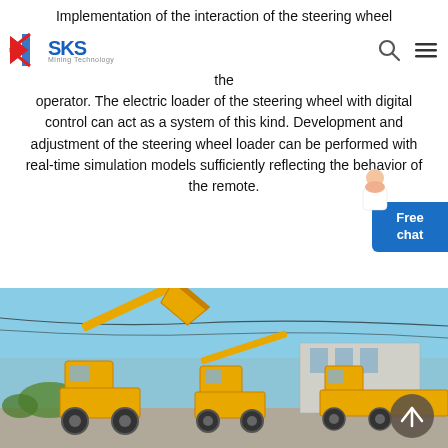SKS Mining Technology — navigation bar with logo, search and menu icons
Implementation of the interaction of the steering wheel a wheeled vehicle remote control workstation should include systems and devices that would provide steering feedback for the operator. The electric loader of the steering wheel with digital control can act as a system of this kind. Development and adjustment of the steering wheel loader can be performed with real-time simulation models sufficiently reflecting the behavior of the remote.
[Figure (photo): Outdoor photograph of yellow wheeled front-end loaders / construction machinery parked at an industrial facility with blue sky background. A scroll-up arrow button is overlaid at bottom right.]